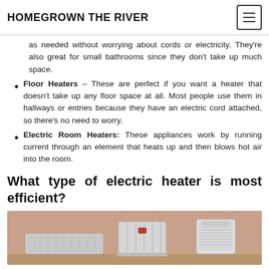HOMEGROWN THE RIVER
as needed without worrying about cords or electricity. They’re also great for small bathrooms since they don’t take up much space.
Floor Heaters – These are perfect if you want a heater that doesn’t take up any floor space at all. Most people use them in hallways or entries because they have an electric cord attached, so there’s no need to worry.
Electric Room Heaters: These appliances work by running current through an element that heats up and then blows hot air into the room.
What type of electric heater is most efficient?
[Figure (photo): Three electric room heaters displayed against a beige/salmon wall: a flat panel heater on the left, an oil-filled radiator in the center, and a portable tower heater on the right.]